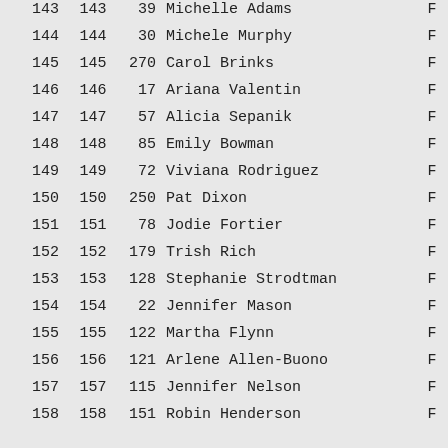| Rank | Rank | Bib | Name | F |
| --- | --- | --- | --- | --- |
| 143 | 143 | 39 | Michelle Adams | F |
| 144 | 144 | 30 | Michele Murphy | F |
| 145 | 145 | 270 | Carol Brinks | F |
| 146 | 146 | 17 | Ariana Valentin | F |
| 147 | 147 | 57 | Alicia Sepanik | F |
| 148 | 148 | 85 | Emily Bowman | F |
| 149 | 149 | 72 | Viviana Rodriguez | F |
| 150 | 150 | 250 | Pat Dixon | F |
| 151 | 151 | 78 | Jodie Fortier | F |
| 152 | 152 | 179 | Trish Rich | F |
| 153 | 153 | 128 | Stephanie Strodtman | F |
| 154 | 154 | 22 | Jennifer Mason | F |
| 155 | 155 | 122 | Martha Flynn | F |
| 156 | 156 | 121 | Arlene Allen-Buono | F |
| 157 | 157 | 115 | Jennifer Nelson | F |
| 158 | 158 | 151 | Robin Henderson | F |